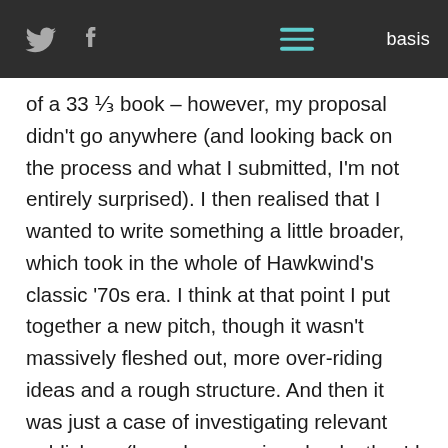basis
of a 33 ⅓ book – however, my proposal didn't go anywhere (and looking back on the process and what I submitted, I'm not entirely surprised). I then realised that I wanted to write something a little broader, which took in the whole of Hawkwind's classic '70s era. I think at that point I put together a new pitch, though it wasn't massively fleshed out, more over-riding ideas and a rough structure. And then it was just a case of investigating relevant publishers (based on previous books they'd published etc) and working out how to get to them. (I'd gone through the rigmarole of trying to get an agent when I was writing scripts, and wasn't